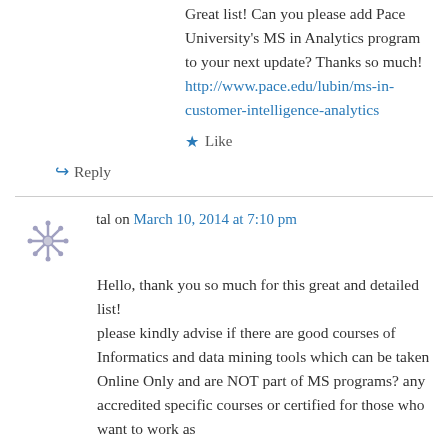Great list! Can you please add Pace University's MS in Analytics program to your next update? Thanks so much! http://www.pace.edu/lubin/ms-in-customer-intelligence-analytics
★ Like
↪ Reply
tal on March 10, 2014 at 7:10 pm
Hello, thank you so much for this great and detailed list!
please kindly advise if there are good courses of Informatics and data mining tools which can be taken Online Only and are NOT part of MS programs? any accredited specific courses or certified for those who want to work as